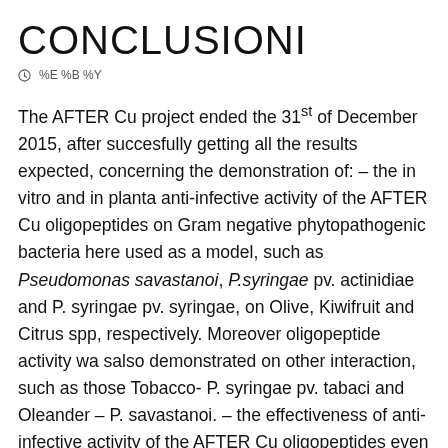CONCLUSIONI
⊙ %E %B %Y
The AFTER Cu project ended the 31st of December 2015, after succesfully getting all the results expected, concerning the demonstration of: – the in vitro and in planta anti-infective activity of the AFTER Cu oligopeptides on Gram negative phytopathogenic bacteria here used as a model, such as Pseudomonas savastanoi, P.syringae pv. actinidiae and P. syringae pv. syringae, on Olive, Kiwifruit and Citrus spp, respectively. Moreover oligopeptide activity wa salso demonstrated on other interaction, such as those Tobacco- P. syringae pv. tabaci and Oleander – P. savastanoi. – the effectiveness of anti-infective activity of the AFTER Cu oligopeptides even in presence of copper pollution and residues, in the soil and on plant surface. – the null toxicity profile of AFTER Cu oligopeptides on soil and epiphytic microflora, on test organisms, and on subcellular targets of any